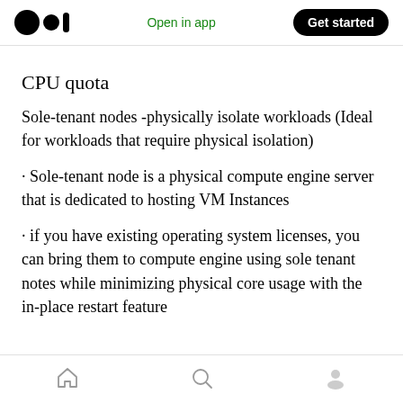Open in app | Get started
CPU quota
Sole-tenant nodes -physically isolate workloads (Ideal for workloads that require physical isolation)
· Sole-tenant node is a physical compute engine server that is dedicated to hosting VM Instances
· if you have existing operating system licenses, you can bring them to compute engine using sole tenant notes while minimizing physical core usage with the in-place restart feature
Home | Search | Profile